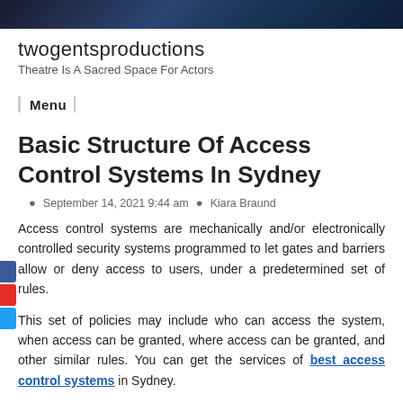[Figure (photo): Dark theatrical stage banner image at the top of the page]
twogentsproductions
Theatre Is A Sacred Space For Actors
Menu
Basic Structure Of Access Control Systems In Sydney
September 14, 2021 9:44 am  Kiara Braund
Access control systems are mechanically and/or electronically controlled security systems programmed to let gates and barriers allow or deny access to users, under a predetermined set of rules.
This set of policies may include who can access the system, when access can be granted, where access can be granted, and other similar rules. You can get the services of best access control systems in Sydney.